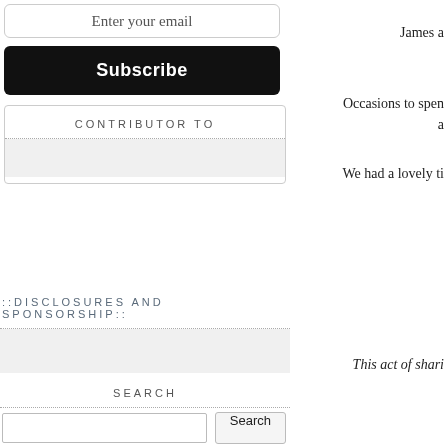Enter your email
Subscribe
CONTRIBUTOR TO
::DISCLOSURES AND SPONSORSHIP::
SEARCH
CATEGORIES
James a
Occasions to spen a
We had a lovely ti
This act of shari